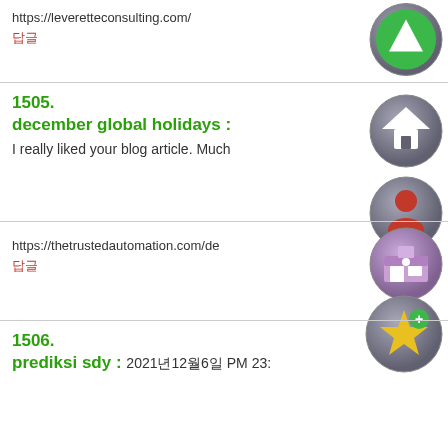https://leveretteconsulting.com/
답글
1505.
december global holidays :
I really liked your blog article. Much
https://thetrustedautomation.com/de
답글
1506.
prediksi sdy : 2021년12월6일 PM 23: